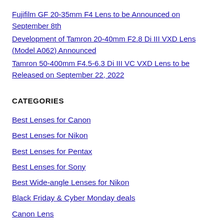Fujifilm GF 20-35mm F4 Lens to be Announced on September 8th
Development of Tamron 20-40mm F2.8 Di III VXD Lens (Model A062) Announced
Tamron 50-400mm F4.5-6.3 Di III VC VXD Lens to be Released on September 22, 2022
CATEGORIES
Best Lenses for Canon
Best Lenses for Nikon
Best Lenses for Pentax
Best Lenses for Sony
Best Wide-angle Lenses for Nikon
Black Friday & Cyber Monday deals
Canon Lens
Fujifilm Lens
Hot deals
Leica Lens